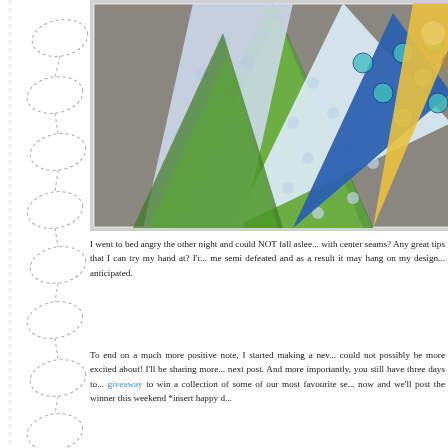[Figure (photo): Colorful quilt fabric triangles/pieces fanned out on a granite/concrete surface. Fabrics include green floral print, white with dots, blue with teal circles, and yellow/gold with floral pattern.]
I went to bed angry the other night and could NOT fall aslee... with center seams? Any great tips that I can try my hand at? I'r... me semi defeated and as a result it may hang on my design... anticipated.
To end on a much more positive note, I started making a nev... could not possibly be more excited about! I'll be sharing more... next post. And more importantly, you still have three days to... giveaway to win a collection of some of our most favourite se... now and we'll post the winner this weekend *insert happy d...